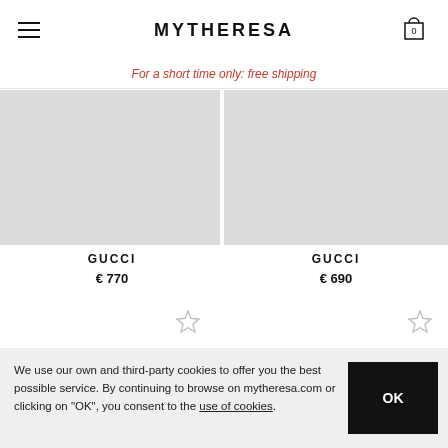MYTHERESA
For a short time only: free shipping
[Figure (photo): Product image placeholder - Gucci item, light grey background, left panel]
[Figure (photo): Product image placeholder - Gucci item, light grey background, right panel]
GUCCI
€ 770
GUCCI
€ 690
We use our own and third-party cookies to offer you the best possible service. By continuing to browse on mytheresa.com or clicking on "OK", you consent to the use of cookies.